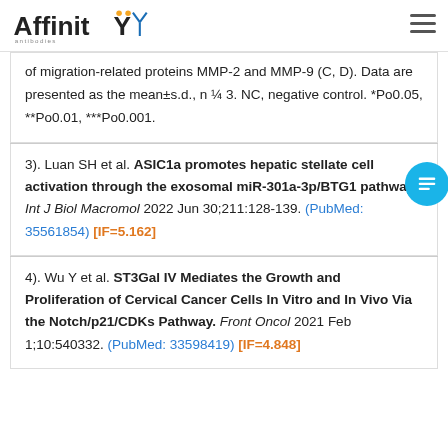AffinityBiosciences logo and navigation
of migration-related proteins MMP-2 and MMP-9 (C, D). Data are presented as the mean±s.d., n ¼ 3. NC, negative control. *Po0.05, **Po0.01, ***Po0.001.
3). Luan SH et al. ASIC1a promotes hepatic stellate cell activation through the exosomal miR-301a-3p/BTG1 pathway. Int J Biol Macromol 2022 Jun 30;211:128-139. (PubMed: 35561854) [IF=5.162]
4). Wu Y et al. ST3Gal IV Mediates the Growth and Proliferation of Cervical Cancer Cells In Vitro and In Vivo Via the Notch/p21/CDKs Pathway. Front Oncol 2021 Feb 1;10:540332. (PubMed: 33598419) [IF=4.848]